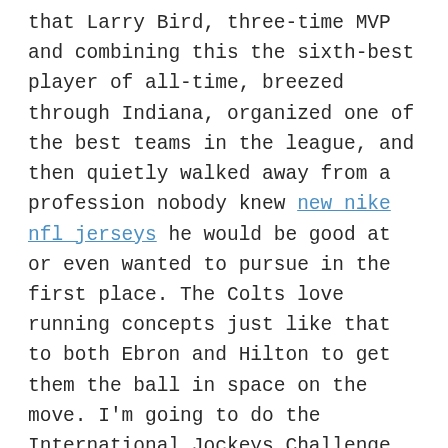that Larry Bird, three-time MVP and combining this the sixth-best player of all-time, breezed through Indiana, organized one of the best teams in the league, and then quietly walked away from a profession nobody knew new nike nfl jerseys he would be good at or even wanted to pursue in the first place. The Colts love running concepts just like that to both Ebron and Hilton to get them the ball in space on the move. I'm going to do the International Jockeys Challenge at Happy Valley. Upon conclusion of the process . The 30-year-old, who can Cheap Jerseys 90 also play up front or as an attacking midfielder, previously played for Borussia Dortmund and Wolfsburg in the Bundesliga between 2011 and 2015, and will now look to make his mark at the Allianz Arena. After